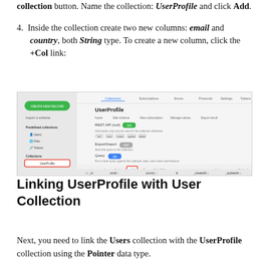collection button. Name the collection: UserProfile and click Add.
4. Inside the collection create two new columns: email and country, both String type. To create a new column, click the +Col link:
[Figure (screenshot): Screenshot of a PocketBase admin UI showing the UserProfile collection with columns email, country, and others. The +Col link is highlighted with a red box.]
Linking UserProfile with User Collection
Next, you need to link the Users collection with the UserProfile collection using the Pointer data type.